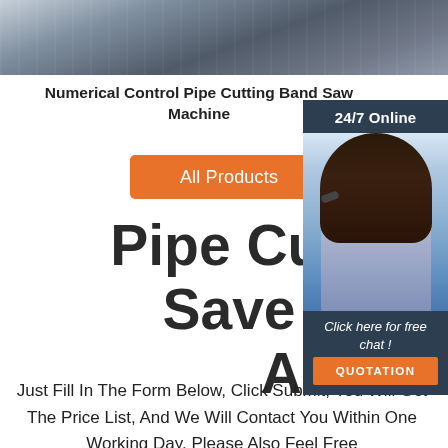[Figure (photo): Close-up photo of a pipe cutting band saw machine, metallic industrial equipment]
Numerical Control Pipe Cutting Band Saw Machine
[Figure (photo): Customer service representative widget: 24/7 Online banner, woman with headset, Click here for free chat, QUOTATION button]
All Products
Pipe Cutting Mac... Save Cost Orbi... Automatic
Just Fill In The Form Below, Click Submit, You Will Get The Price List, And We Will Contact You Within One Working Day. Please Also Feel Free